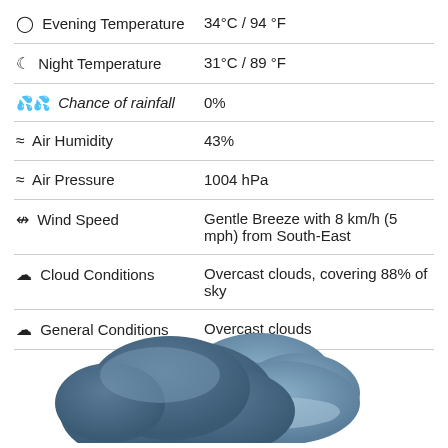| Evening Temperature | 34°C / 94 °F |
| Night Temperature | 31°C / 89 °F |
| Chance of rainfall | 0% |
| Air Humidity | 43% |
| Air Pressure | 1004 hPa |
| Wind Speed | Gentle Breeze with 8 km/h (5 mph) from South-East |
| Cloud Conditions | Overcast clouds, covering 88% of sky |
| General Conditions | Overcast clouds |
[Figure (illustration): Overcast cloud illustration — a large dark blue-grey cloud with a smaller lighter cloud behind it, shown in the bottom portion of the page.]